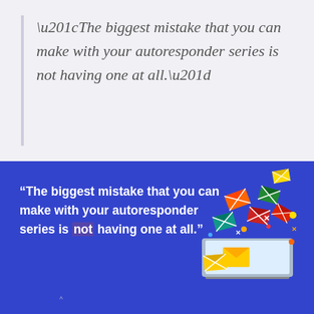“The biggest mistake that you can make with your autoresponder series is not having one at all.”
[Figure (illustration): Blue banner with bold white quote text and colorful envelope illustration with a laptop showing envelopes flying out]